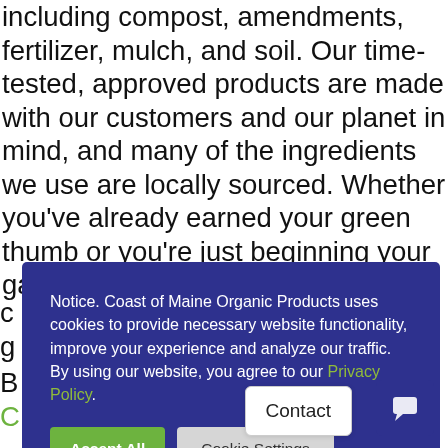including compost, amendments, fertilizer, mulch, and soil. Our time-tested, approved products are made with our customers and our planet in mind, and many of the ingredients we use are locally sourced. Whether you've already earned your green thumb or you're just beginning your gardening
[Figure (screenshot): Cookie consent overlay with dark blue background containing notice text from Coast of Maine Organic Products, a Privacy Policy link in green, and two buttons: 'Accept All' (green) and 'Cookie Settings' (light gray)]
supplies! Additionally, you can visit our FAQ page, where we offer answers to commonly asked questions.
[Figure (screenshot): Contact button and chat widget button in bottom right corner. Contact is a white rounded rectangle button. Chat widget is a dark blue square with a chat icon.]